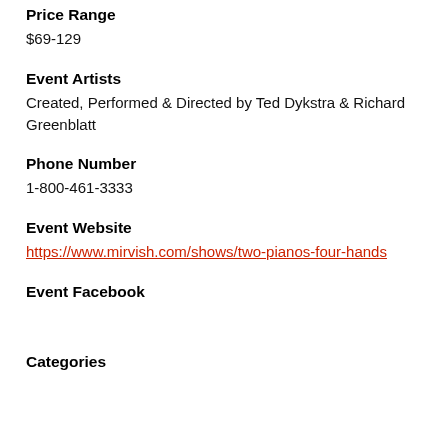Price Range
$69-129
Event Artists
Created, Performed & Directed by Ted Dykstra & Richard Greenblatt
Phone Number
1-800-461-3333
Event Website
https://www.mirvish.com/shows/two-pianos-four-hands
Event Facebook
Categories